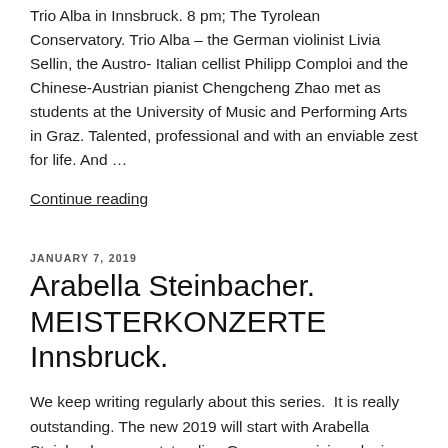Trio Alba in Innsbruck. 8 pm; The Tyrolean Conservatory. Trio Alba – the German violinist Livia Sellin, the Austro-Italian cellist Philipp Comploi and the Chinese-Austrian pianist Chengcheng Zhao met as students at the University of Music and Performing Arts in Graz. Talented, professional and with an enviable zest for life. And …
Continue reading
JANUARY 7, 2019
Arabella Steinbacher. MEISTERKONZERTE Innsbruck.
We keep writing regularly about this series. It is really outstanding. The new 2019 will start with Arabella Steinbacher, an outstanding German musician playing together with Royal Philharmonic Orchestra. Conductor – Lionel Bringuier. January 22, 2019. 8 pm; Congress Hall,